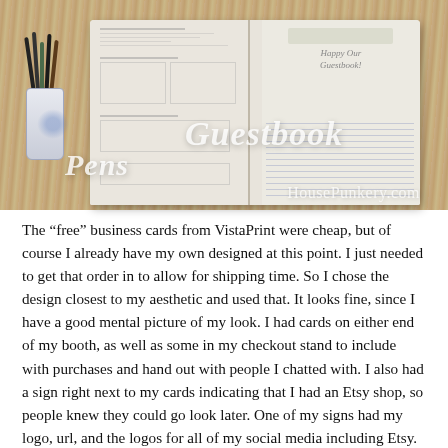[Figure (photo): Photo of an open guestbook/journal lying flat on a wooden table, with a cup of pens visible on the left. Watermark text overlaid on the photo reads 'Pens' on the left, 'Guestbook' in the center-right, and 'HousePunkery.com' at the bottom right.]
The “free” business cards from VistaPrint were cheap, but of course I already have my own designed at this point. I just needed to get that order in to allow for shipping time. So I chose the design closest to my aesthetic and used that. It looks fine, since I have a good mental picture of my look. I had cards on either end of my booth, as well as some in my checkout stand to include with purchases and hand out with people I chatted with. I also had a sign right next to my cards indicating that I had an Etsy shop, so people knew they could go look later. One of my signs had my logo, url, and the logos for all of my social media including Etsy. The most interaction I had was people taking cards, to give me a Facebook like, to shop later, to network, I dunno. But they had my